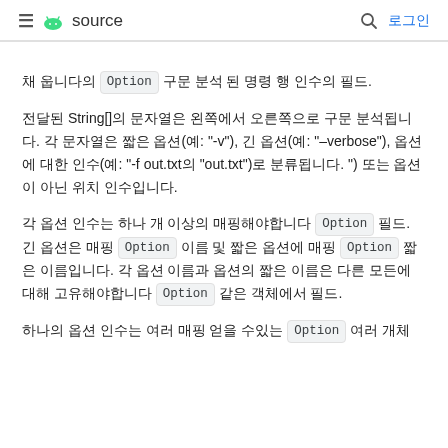≡ 🤖 source   🔍 로그인
채 웁니다의 Option 구문 분석 된 명령 행 인수의 필드.
전달된 String[]의 문자열은 왼쪽에서 오른쪽으로 구문 분석됩니다. 각 문자열은 짧은 옵션(예: "-v"), 긴 옵션(예: "–verbose"), 옵션에 대한 인수(예: "-f out.txt의 "out.txt")로 분류됩니다. ") 또는 옵션이 아닌 위치 인수입니다.
각 옵션 인수는 하나 개 이상의 매핑해야합니다 Option 필드. 긴 옵션은 매핑 Option 이름 및 짧은 옵션에 매핑 Option 짧은 이름입니다. 각 옵션 이름과 옵션의 짧은 이름은 다른 모든에 대해 고유해야합니다 Option 같은 객체에서 필드.
하나의 옵션 인수는 여러 매핑 얻을 수있는 Option 여러 개체